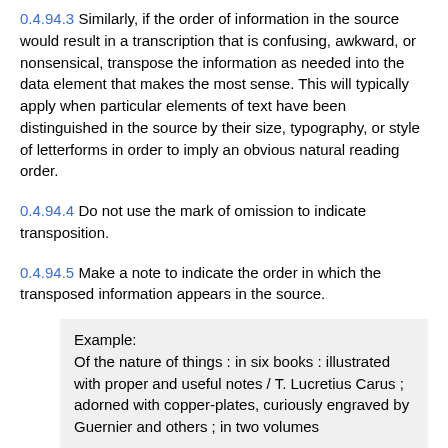0.4.94.3 Similarly, if the order of information in the source would result in a transcription that is confusing, awkward, or nonsensical, transpose the information as needed into the data element that makes the most sense. This will typically apply when particular elements of text have been distinguished in the source by their size, typography, or style of letterforms in order to imply an obvious natural reading order.
0.4.94.4 Do not use the mark of omission to indicate transposition.
0.4.94.5 Make a note to indicate the order in which the transposed information appears in the source.
Example: Of the nature of things : in six books : illustrated with proper and useful notes / T. Lucretius Carus ; adorned with copper-plates, curiously engraved by Guernier and others ; in two volumes